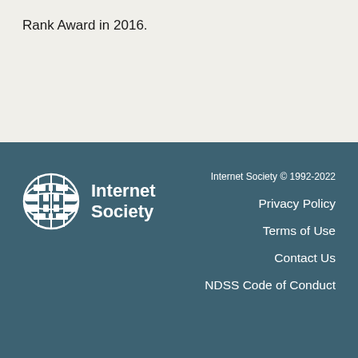Rank Award in 2016.
[Figure (logo): Internet Society globe logo with white grid pattern on teal background]
Internet Society
Internet Society © 1992-2022
Privacy Policy
Terms of Use
Contact Us
NDSS Code of Conduct